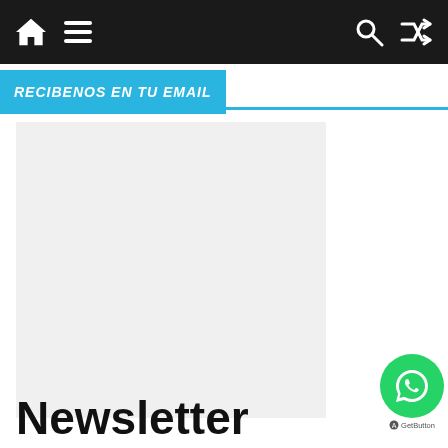Navigation bar with home, menu, search, and shuffle icons
RECIBENOS EN TU EMAIL
[Figure (other): Grey advertisement placeholder rectangle]
Newsletter
[Figure (other): WhatsApp floating action button (green circle with WhatsApp icon) and AGetButton label below]